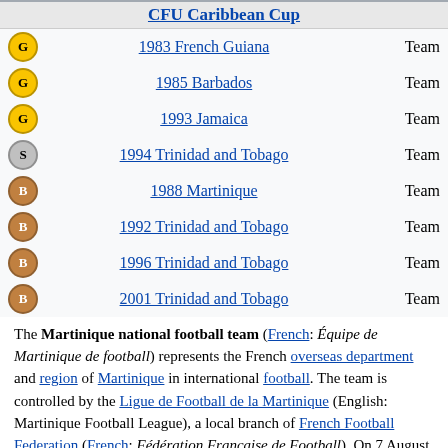| Medal | Year/Location | Type |
| --- | --- | --- |
| G | 1983 French Guiana | Team |
| G | 1985 Barbados | Team |
| G | 1993 Jamaica | Team |
| S | 1994 Trinidad and Tobago | Team |
| B | 1988 Martinique | Team |
| B | 1992 Trinidad and Tobago | Team |
| B | 1996 Trinidad and Tobago | Team |
| B | 2001 Trinidad and Tobago | Team |
The Martinique national football team (French: Équipe de Martinique de football) represents the French overseas department and region of Martinique in international football. The team is controlled by the Ligue de Football de la Martinique (English: Martinique Football League), a local branch of French Football Federation (French: Fédération Française de Football). On 7 August 2010, the national team adopted the nickname Les Matinino, which pays tribute to the history of the island.[2][3]
Overview
As an overseas department of the French Republic, Martinique is not a member of FIFA and is therefore not eligible to enter the